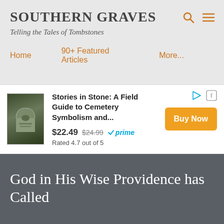SOUTHERN GRAVES
Telling the Tales of Tombstones
Home
90+ Featured Articles
More...
[Figure (other): Advertisement for 'Stories in Stone: A Field Guide to Cemetery Symbolism and...' priced at $22.49 (was $24.99), Prime eligible, Rated 4.7 out of 5, with Buy Now button]
God in His Wise Providence has Called